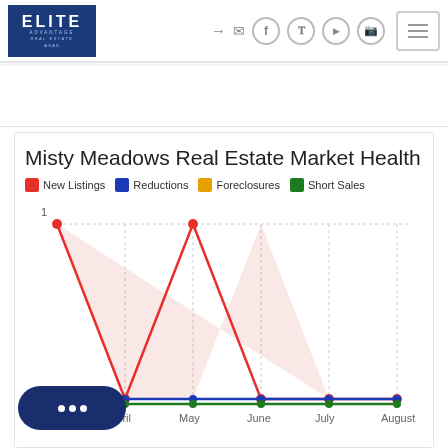[Figure (logo): Elite Advantage Real Estate logo - blue square with white text]
[Figure (line-chart): Misty Meadows Real Estate Market Health]